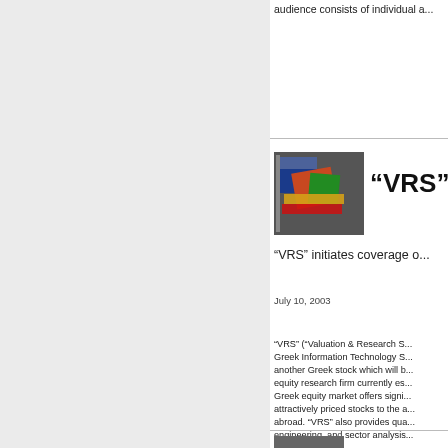audience consists of individual a...
[Figure (photo): Photo of multiple national flags]
“VRS”
“VRS” initiates coverage o...
July 10, 2003
“VRS” (“Valuation & Research S...) Greek Information Technology S... another Greek stock which will b... equity research firm currently es... Greek equity market offers signi... attractively priced stocks to the a... abroad. “VRS” also provides qua... engineering, and sector analysis...